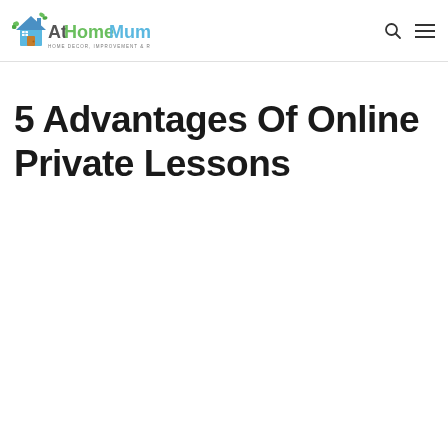At Home Mum — HOME DECOR, IMPROVEMENT & REMODELLING GUIDE
5 Advantages Of Online Private Lessons